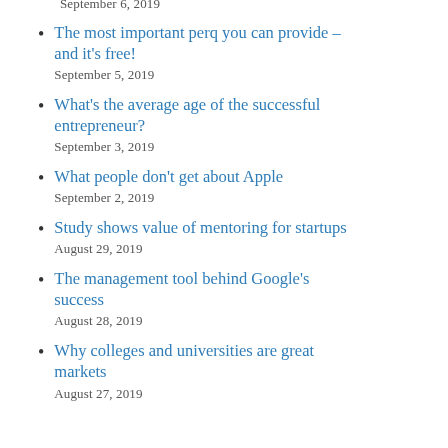September 6, 2019
The most important perq you can provide – and it's free!
September 5, 2019
What's the average age of the successful entrepreneur?
September 3, 2019
What people don't get about Apple
September 2, 2019
Study shows value of mentoring for startups
August 29, 2019
The management tool behind Google's success
August 28, 2019
Why colleges and universities are great markets
August 27, 2019